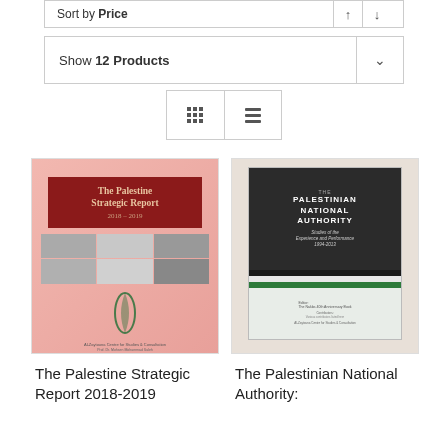Sort by Price
Show 12 Products
[Figure (screenshot): View toggle buttons: grid view and list view icons]
[Figure (photo): Book cover: The Palestine Strategic Report 2018-2019]
[Figure (photo): Book cover: The Palestinian National Authority: Studies of the Experience and Performance 1994-2013]
The Palestine Strategic Report 2018-2019
The Palestinian National Authority: Studies of the